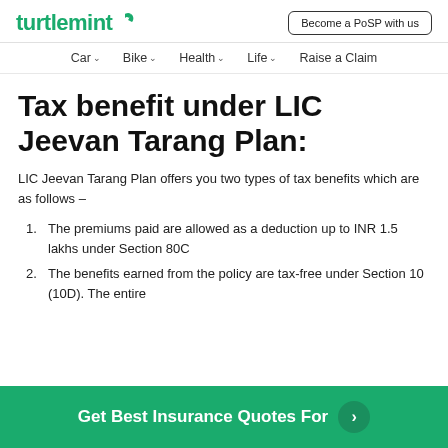turtlemint | Become a PoSP with us
Car | Bike | Health | Life | Raise a Claim
Tax benefit under LIC Jeevan Tarang Plan:
LIC Jeevan Tarang Plan offers you two types of tax benefits which are as follows –
The premiums paid are allowed as a deduction up to INR 1.5 lakhs under Section 80C
The benefits earned from the policy are tax-free under Section 10 (10D). The entire
Get Best Insurance Quotes For